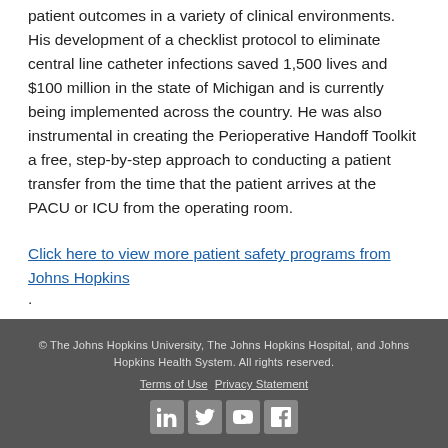patient outcomes in a variety of clinical environments. His development of a checklist protocol to eliminate central line catheter infections saved 1,500 lives and $100 million in the state of Michigan and is currently being implemented across the country. He was also instrumental in creating the Perioperative Handoff Toolkit a free, step-by-step approach to conducting a patient transfer from the time that the patient arrives at the PACU or ICU from the operating room.
Click here to view more patient safety programs from Johns Hopkins.
© The Johns Hopkins University, The Johns Hopkins Hospital, and Johns Hopkins Health System. All rights reserved. Terms of Use Privacy Statement